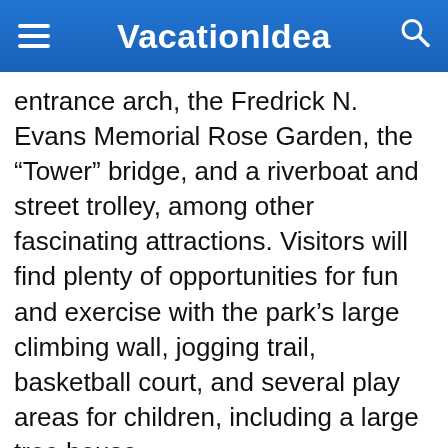VacationIdea
entrance arch, the Fredrick N. Evans Memorial Rose Garden, the “Tower” bridge, and a riverboat and street trolley, among other fascinating attractions. Visitors will find plenty of opportunities for fun and exercise with the park’s large climbing wall, jogging trail, basketball court, and several play areas for children, including a large tree house.
601 Alhambra Boulevard, Sacramento, California, Phone: 916-452-8011
"Best Things to Do in Sacramento, California